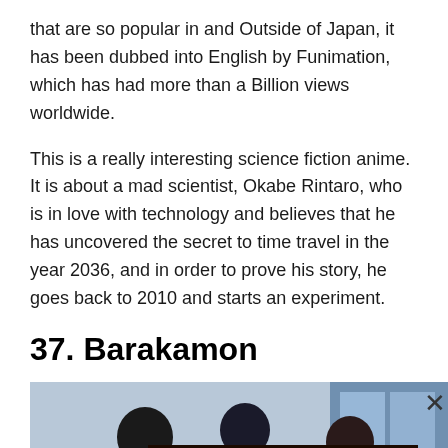that are so popular in and Outside of Japan, it has been dubbed into English by Funimation, which has had more than a Billion views worldwide.
This is a really interesting science fiction anime. It is about a mad scientist, Okabe Rintaro, who is in love with technology and believes that he has uncovered the secret to time travel in the year 2036, and in order to prove his story, he goes back to 2010 and starts an experiment.
37. Barakamon
[Figure (screenshot): Anime screenshot showing characters, with an overlaid advertisement banner for Jurga Creations with 'Go To Etsy For More' button and an X close button]